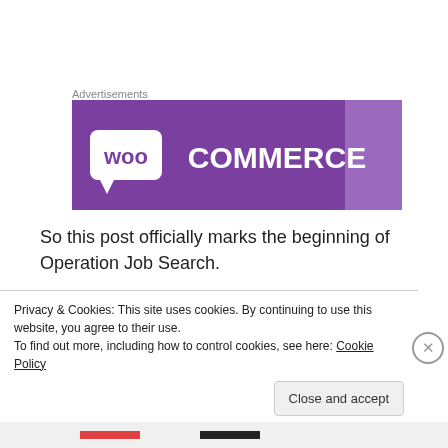Advertisements
[Figure (logo): WooCommerce advertisement banner with purple background and white WooCommerce logo]
So this post officially marks the beginning of Operation Job Search.
Yes this post probably reads like I'm asking for work a desperate cry for help.  But I'm working on being pro-active about asking for advice and
Privacy & Cookies: This site uses cookies. By continuing to use this website, you agree to their use.
To find out more, including how to control cookies, see here: Cookie Policy
Close and accept